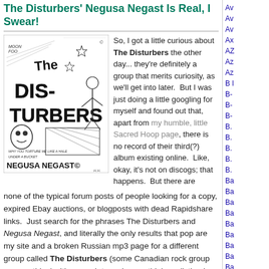The Disturbers' Negusa Negast Is Real, I Swear!
[Figure (illustration): Black and white hand-drawn album cover for The Disturbers - Negusa Negast, showing sketchy cartoon figures, text reading 'The Dis-Turbers', 'Negusa Negast', and 'Why you torture me like a hale under a bucket']
So, I got a little curious about The Disturbers the other day... they're definitely a group that merits curiosity, as we'll get into later.  But I was just doing a little googling for myself and found out that, apart from my humble, little Sacred Hoop page, there is no record of their third(?) album existing online.  Like, okay, it's not on discogs; that happens.  But there are none of the typical forum posts of people looking for a copy, expired Ebay auctions, or blogposts with dead Rapidshare links.  Just search for the phrases The Disturbers and Negusa Negast, and literally the only results that pop are my site and a broken Russian mp3 page for a different group called The Disturbers (some Canadian rock group or something).  It's enough to make you think my listing is some kind of mistake or that I just made the whole thing up.  So here we go with a big, revelatory post about it to today just to assure any doubters out there that this album actually exists, and to tell fans what it's like, since I'm guessing most never got to hear it.
Av
Av
Av
Ax
AZ
Az
Az
B I
B-
B-
B-
B.
B.
B.
B.
B.
Ba
Ba
Ba
Ba
Ba
Ba
Ba
Ba
Ba